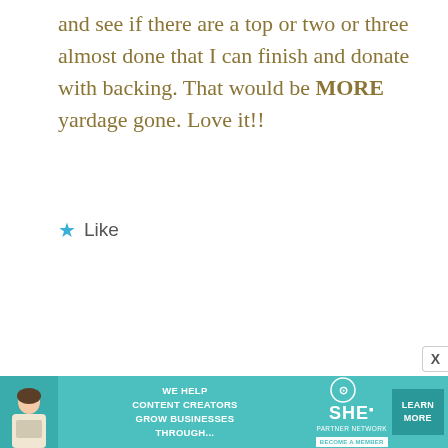and see if there are a top or two or three almost done that I can finish and donate with backing. That would be MORE yardage gone. Love it!!
★ Like
[Figure (infographic): Advertisement banner for SHE Media Partner Network: 'We help content creators grow businesses through...' with a Learn More button and a photo of a woman with a laptop.]